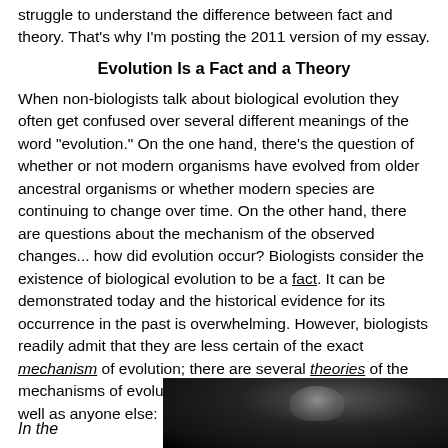struggle to understand the difference between fact and theory. That's why I'm posting the 2011 version of my essay.
Evolution Is a Fact and a Theory
When non-biologists talk about biological evolution they often get confused over several different meanings of the word "evolution." On the one hand, there's the question of whether or not modern organisms have evolved from older ancestral organisms or whether modern species are continuing to change over time. On the other hand, there are questions about the mechanism of the observed changes... how did evolution occur? Biologists consider the existence of biological evolution to be a fact. It can be demonstrated today and the historical evidence for its occurrence in the past is overwhelming. However, biologists readily admit that they are less certain of the exact mechanism of evolution; there are several theories of the mechanisms of evolution. Stephen J. Gould has put this as well as anyone else:
In the
[Figure (photo): Black and white photograph of a person, partially visible at the bottom right of the page]